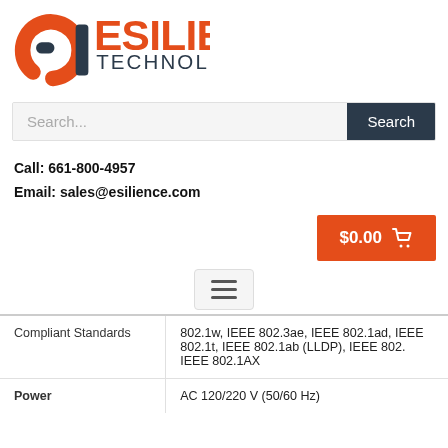[Figure (logo): Esilience Technologies logo with orange icon and orange/dark text]
Search...
Call: 661-800-4957
Email: sales@esilience.com
$0.00 (cart button)
[Figure (other): Hamburger menu button with three horizontal lines]
| Compliant Standards | 802.1w, IEEE 802.3ae, IEEE 802.1ad, IEEE 802.1t, IEEE 802.1ab (LLDP), IEEE 802. IEEE 802.1AX |
| --- | --- |
| Compliant Standards | 802.1w, IEEE 802.3ae, IEEE 802.1ad, IEEE 802.1t, IEEE 802.1ab (LLDP), IEEE 802. IEEE 802.1AX |
| Power | AC 120/220 V (50/60 Hz) |